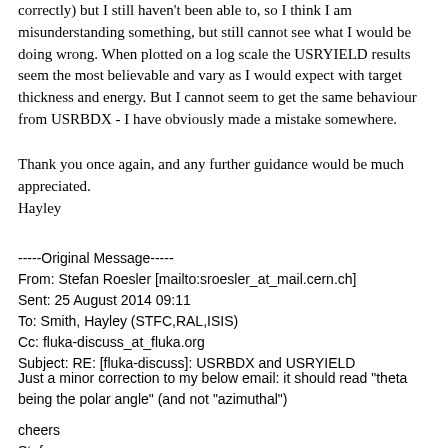correctly) but I still haven't been able to, so I think I am misunderstanding something, but still cannot see what I would be doing wrong. When plotted on a log scale the USRYIELD results seem the most believable and vary as I would expect with target thickness and energy. But I cannot seem to get the same behaviour from USRBDX - I have obviously made a mistake somewhere.
Thank you once again, and any further guidance would be much appreciated.
Hayley
-----Original Message-----
From: Stefan Roesler [mailto:sroesler_at_mail.cern.ch]
Sent: 25 August 2014 09:11
To: Smith, Hayley (STFC,RAL,ISIS)
Cc: fluka-discuss_at_fluka.org
Subject: RE: [fluka-discuss]: USRBDX and USRYIELD
Just a minor correction to my below email: it should read "theta being the polar angle" (and not "azimuthal")
cheers
Stefan